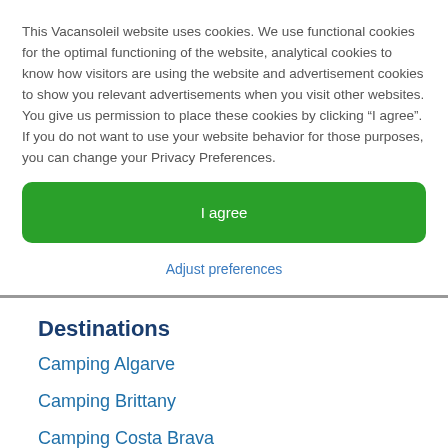This Vacansoleil website uses cookies. We use functional cookies for the optimal functioning of the website, analytical cookies to know how visitors are using the website and advertisement cookies to show you relevant advertisements when you visit other websites. You give us permission to place these cookies by clicking “I agree”. If you do not want to use your website behavior for those purposes, you can change your Privacy Preferences.
I agree
Adjust preferences
Destinations
Camping Algarve
Camping Brittany
Camping Costa Brava